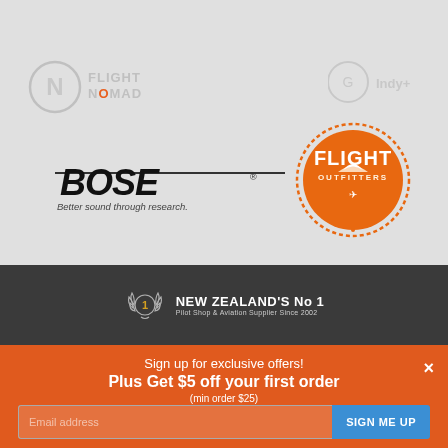[Figure (logo): Flight Nomad logo (faded gray) in top-left of gray section]
[Figure (logo): Indy+ or similar faded circular logo in top-right of gray section]
[Figure (logo): BOSE logo with tagline 'Better sound through research.' in bottom-left of gray section]
[Figure (logo): Flight Outfitters orange circular logo in bottom-right of gray section]
[Figure (logo): New Zealand's No 1 Pilot Shop & Aviation Supplier Since 2002 badge in dark bar]
Sign up for exclusive offers!
Plus Get $5 off your first order
(min order $25)
Email address
SIGN ME UP